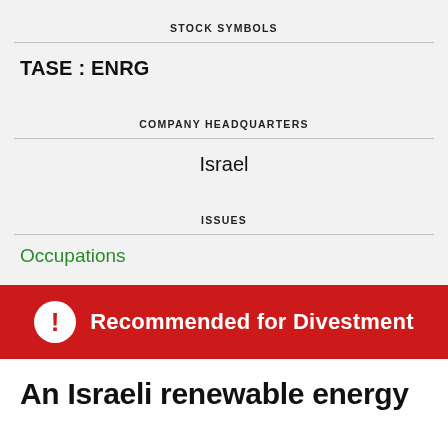STOCK SYMBOLS
TASE : ENRG
COMPANY HEADQUARTERS
Israel
ISSUES
Occupations
Recommended for Divestment
An Israeli renewable energy